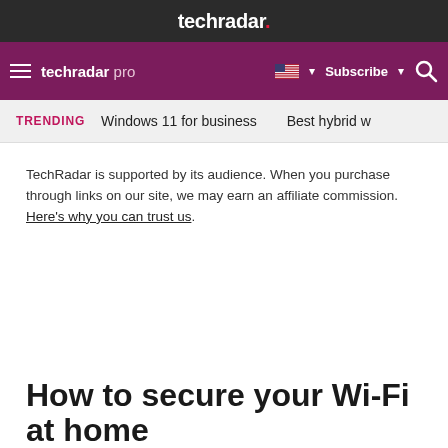techradar.
techradar pro  Subscribe
TRENDING  Windows 11 for business  Best hybrid w
TechRadar is supported by its audience. When you purchase through links on our site, we may earn an affiliate commission. Here's why you can trust us.
How to secure your Wi-Fi at home